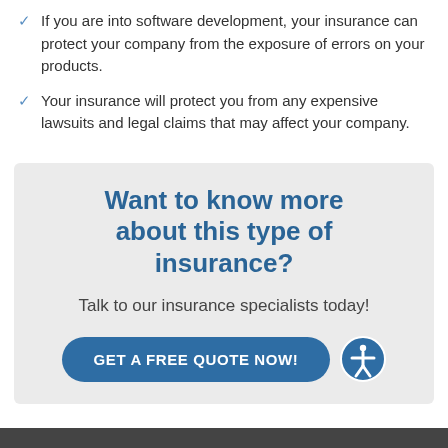If you are into software development, your insurance can protect your company from the exposure of errors on your products.
Your insurance will protect you from any expensive lawsuits and legal claims that may affect your company.
Want to know more about this type of insurance?
Talk to our insurance specialists today!
GET A FREE QUOTE NOW!